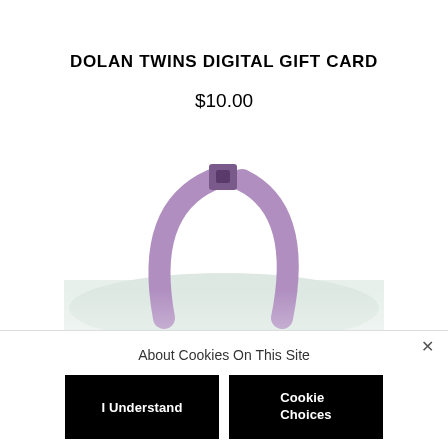DOLAN TWINS DIGITAL GIFT CARD
$10.00
[Figure (photo): Partial view of a bag with purple handles and a small square purple clasp at the top, on a white background. The image is cropped showing only the top portion of the bag.]
About Cookies On This Site
I Understand
Cookie Choices